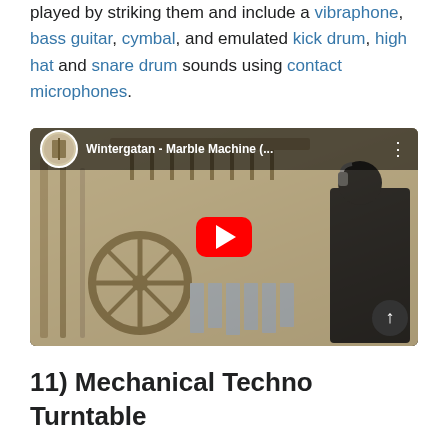played by striking them and include a vibraphone, bass guitar, cymbal, and emulated kick drum, high hat and snare drum sounds using contact microphones.
[Figure (screenshot): YouTube video thumbnail for 'Wintergatan - Marble Machine (...' showing a wooden mechanical marble machine instrument with a person in black operating it. A red YouTube play button is centered on the image.]
11) Mechanical Techno Turntable
...